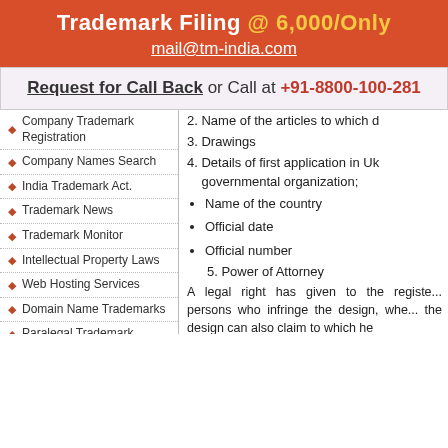Trademark Filing @ 6,000/Only
mail@tm-india.com
Request for Call Back or Call at +91-8800-100-281
Company Trademark Registration
Company Names Search
India Trademark Act.
Trademark News
Trademark Monitor
Intellectual Property Laws
Web Hosting Services
Domain Name Trademarks
Paralegal Trademark
Common Law Trademarks
Copyright Registration
Patent Registration
Company Patent Registration
Company Registration
2. Name of the articles to which d...
3. Drawings
4. Details of first application in U... governmental organization;
Name of the country
Official date
Official number
5. Power of Attorney
A legal right has given to the registe... persons who infringe the design, whe... the design can also claim to which he
International Design Registrat...
By International Design Registration...